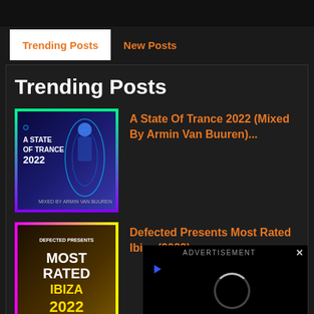Trending Posts | New Posts
Trending Posts
A State Of Trance 2022 (Mixed By Armin Van Buuren)...
Defected Presents Most Rated Ibiza (2022)
Mastermix Pre... 90s (2022)
ADVERTISEMENT